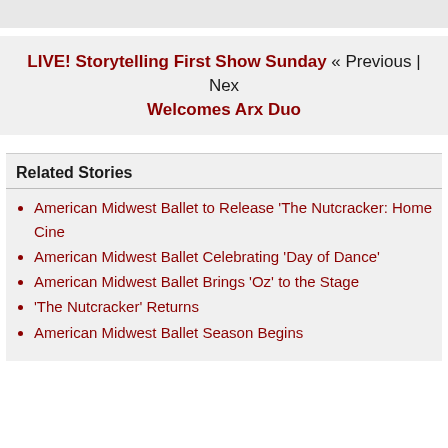LIVE! Storytelling First Show Sunday « Previous | Next Welcomes Arx Duo
Related Stories
American Midwest Ballet to Release 'The Nutcracker: Home Cine…
American Midwest Ballet Celebrating 'Day of Dance'
American Midwest Ballet Brings 'Oz' to the Stage
'The Nutcracker' Returns
American Midwest Ballet Season Begins